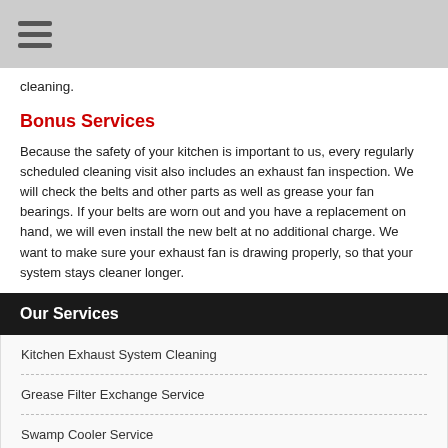cleaning.
Bonus Services
Because the safety of your kitchen is important to us, every regularly scheduled cleaning visit also includes an exhaust fan inspection. We will check the belts and other parts as well as grease your fan bearings. If your belts are worn out and you have a replacement on hand, we will even install the new belt at no additional charge. We want to make sure your exhaust fan is drawing properly, so that your system stays cleaner longer.
Our Services
Kitchen Exhaust System Cleaning
Grease Filter Exchange Service
Swamp Cooler Service